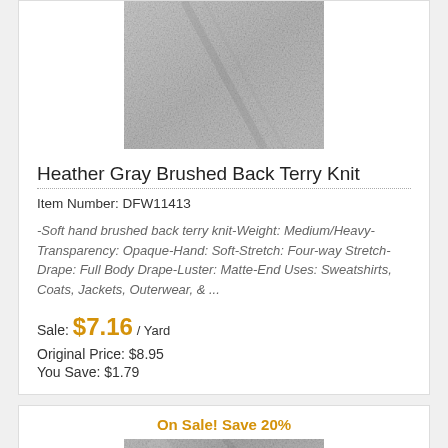[Figure (photo): Close-up photo of heather gray brushed back terry knit fabric texture]
Heather Gray Brushed Back Terry Knit
Item Number: DFW11413
-Soft hand brushed back terry knit-Weight: Medium/Heavy-Transparency: Opaque-Hand: Soft-Stretch: Four-way Stretch-Drape: Full Body Drape-Luster: Matte-End Uses: Sweatshirts, Coats, Jackets, Outerwear, & ...
Sale: $7.16 / Yard
Original Price: $8.95
You Save: $1.79
On Sale! Save 20%
[Figure (photo): Close-up photo of another fabric texture in gray tones]